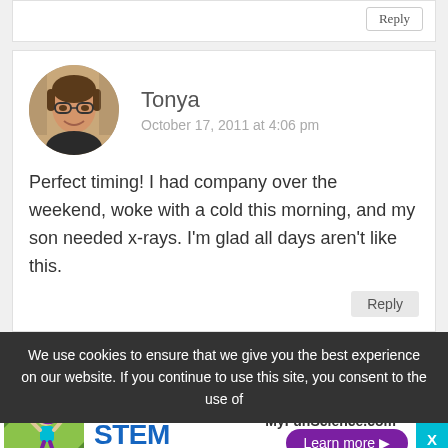Reply
Tonya
October 17, 2011 at 4:06 pm
[Figure (photo): Circular avatar photo of Tonya, a woman with short brown hair and glasses, smiling]
Perfect timing! I had company over the weekend, woke with a cold this morning, and my son needed x-rays. I'm glad all days aren't like this.
Reply
We use cookies to ensure that we give you the best experience on our website. If you continue to use this site, you consent to the use of
[Figure (illustration): Advertisement for MyFunScience.com featuring Live Online STEM Classes with illustration of a girl jumping and a Learn more button]